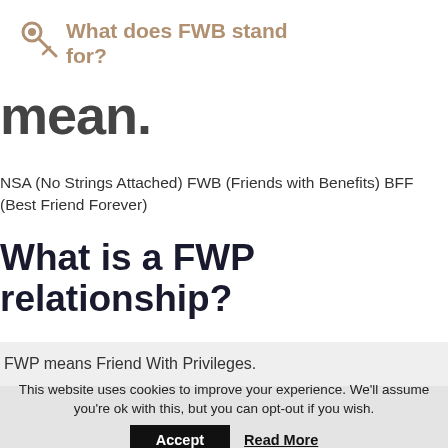What does FWB stand for?
mean.
NSA (No Strings Attached) FWB (Friends with Benefits) BFF (Best Friend Forever)
What is a FWP relationship?
FWP means Friend With Privileges.
This website uses cookies to improve your experience. We'll assume you're ok with this, but you can opt-out if you wish.